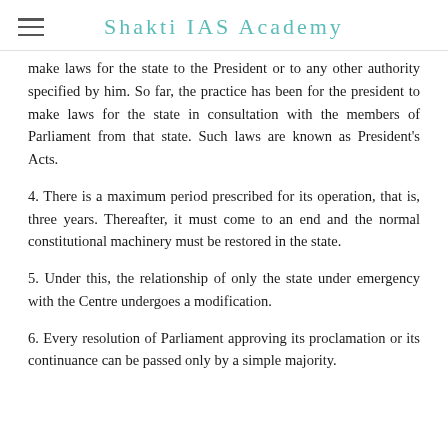Shakti IAS Academy
make laws for the state to the President or to any other authority specified by him. So far, the practice has been for the president to make laws for the state in consultation with the members of Parliament from that state. Such laws are known as President's Acts.
4. There is a maximum period prescribed for its operation, that is, three years. Thereafter, it must come to an end and the normal constitutional machinery must be restored in the state.
5. Under this, the relationship of only the state under emergency with the Centre undergoes a modification.
6. Every resolution of Parliament approving its proclamation or its continuance can be passed only by a simple majority.